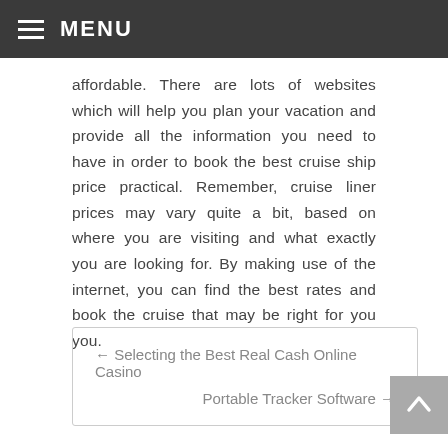☰ MENU
affordable. There are lots of websites which will help you plan your vacation and provide all the information you need to have in order to book the best cruise ship price practical. Remember, cruise liner prices may vary quite a bit, based on where you are visiting and what exactly you are looking for. By making use of the internet, you can find the best rates and book the cruise that may be right for you you.
← Selecting the Best Real Cash Online Casino
Portable Tracker Software →